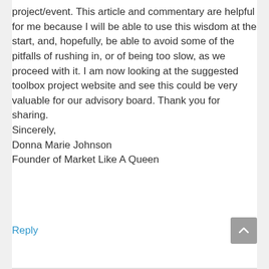project/event. This article and commentary are helpful for me because I will be able to use this wisdom at the start, and, hopefully, be able to avoid some of the pitfalls of rushing in, or of being too slow, as we proceed with it. I am now looking at the suggested toolbox project website and see this could be very valuable for our advisory board. Thank you for sharing. Sincerely,
Donna Marie Johnson
Founder of Market Like A Queen
Reply